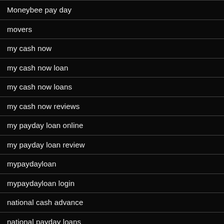Moneybee pay day
movers
my cash now
my cash now loan
my cash now loans
my cash now reviews
my payday loan online
my payday loan review
mypaydayloan
mypaydayloan login
national cash advance
national payday loans